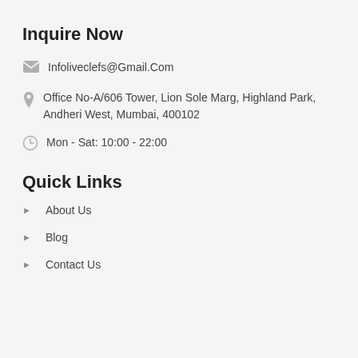Inquire Now
Infoliveclefs@Gmail.Com
Office No-A/606 Tower, Lion Sole Marg, Highland Park, Andheri West, Mumbai, 400102
Mon - Sat: 10:00 - 22:00
Quick Links
About Us
Blog
Contact Us